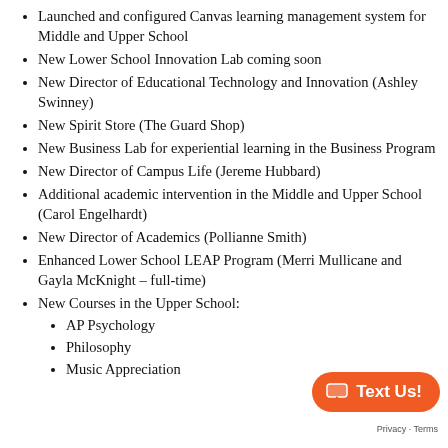Launched and configured Canvas learning management system for Middle and Upper School
New Lower School Innovation Lab coming soon
New Director of Educational Technology and Innovation (Ashley Swinney)
New Spirit Store (The Guard Shop)
New Business Lab for experiential learning in the Business Program
New Director of Campus Life (Jereme Hubbard)
Additional academic intervention in the Middle and Upper School (Carol Engelhardt)
New Director of Academics (Pollianne Smith)
Enhanced Lower School LEAP Program (Merri Mullicane and Gayla McKnight – full-time)
New Courses in the Upper School:
AP Psychology
Philosophy
Music Appreciation